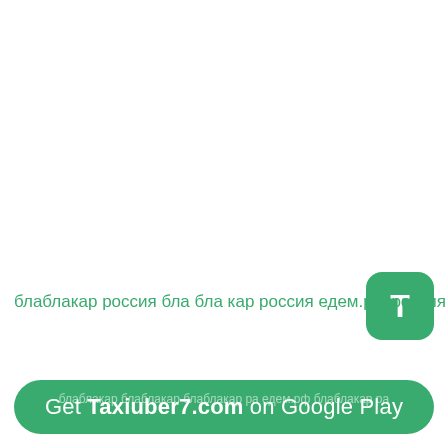[Figure (logo): Green rounded square icon with white letter T]
блаблакар россия бла бла кар россия едем.рф россия бла бла я
[Figure (infographic): Green pill-shaped banner with text 'Get Taxiuber7.com on Google Play' and faint background text]